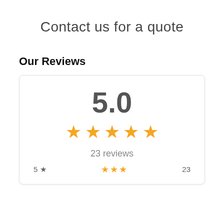Contact us for a quote
Our Reviews
[Figure (infographic): Review summary card showing a 5.0 star rating with 5 gold stars and 23 reviews, with a partial bottom row showing '5 stars' and a number '23']